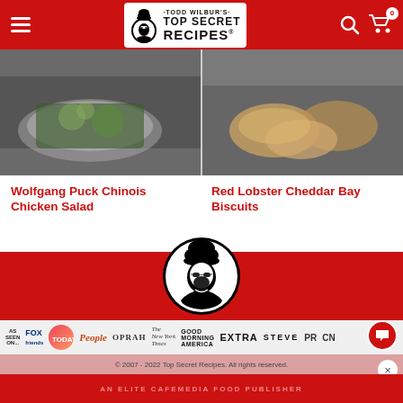Todd Wilbur's Top Secret Recipes
[Figure (photo): Food photo - Wolfgang Puck Chinois Chicken Salad]
[Figure (photo): Food photo - Red Lobster Cheddar Bay Biscuits]
Wolfgang Puck Chinois Chicken Salad
Red Lobster Cheddar Bay Biscuits
[Figure (logo): Top Secret Recipes chef logo - black and white illustration of chef with sunglasses in circular border]
[Figure (logo): Social media icons row: Facebook, Twitter, YouTube, Instagram]
[Figure (logo): Media strip: As Seen On FOX, TODAY, People, Oprah, The New York Times, Good Morning America, Extra, Steve, PR, CNN]
© 2007 - 2022 Top Secret Recipes. All rights reserved.
AN ELITE CAFEMEDIA FOOD PUBLISHER